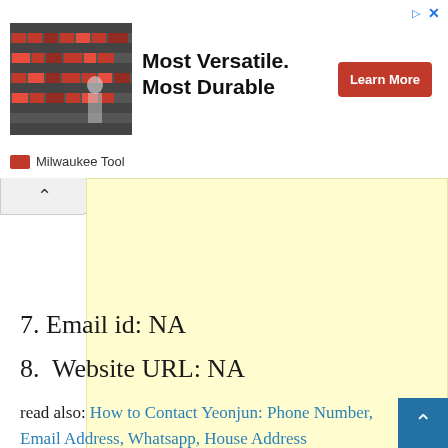[Figure (other): Milwaukee Tool advertisement banner with photo of red tools/equipment on shelves. Ad headline: 'Most Versatile. Most Durable' with a red 'Learn More' button. Sponsored by Milwaukee Tool.]
[Figure (other): Yellow/cream colored advertisement placeholder area with a collapse arrow tab on the left side.]
7. Email id: NA
8.  Website URL: NA
read also: How to Contact Yeonjun: Phone Number, Email Address, Whatsapp, House Address